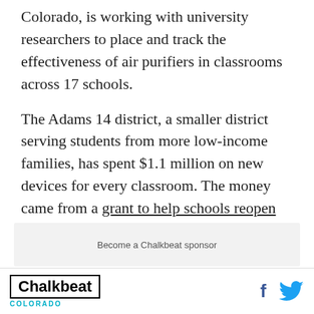Colorado, is working with university researchers to place and track the effectiveness of air purifiers in classrooms across 17 schools.
The Adams 14 district, a smaller district serving students from more low-income families, has spent $1.1 million on new devices for every classroom. The money came from a grant to help schools reopen buildings. The device pulls oxygen and moisture out of the air and pushes out dry hydrogen peroxide that can kill viruses in the air.
Become a Chalkbeat sponsor
Chalkbeat COLORADO